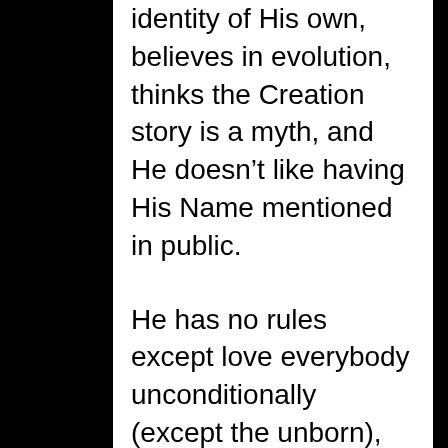identity of His own, believes in evolution, thinks the Creation story is a myth, and He doesn't like having His Name mentioned in public.
He has no rules except love everybody unconditionally (except the unborn), and avoid